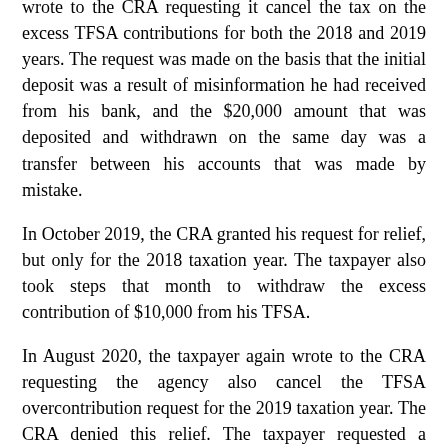wrote to the CRA requesting it cancel the tax on the excess TFSA contributions for both the 2018 and 2019 years. The request was made on the basis that the initial deposit was a result of misinformation he had received from his bank, and the $20,000 amount that was deposited and withdrawn on the same day was a transfer between his accounts that was made by mistake.
In October 2019, the CRA granted his request for relief, but only for the 2018 taxation year. The taxpayer also took steps that month to withdraw the excess contribution of $10,000 from his TFSA.
In August 2020, the taxpayer again wrote to the CRA requesting the agency also cancel the TFSA overcontribution request for the 2019 taxation year. The CRA denied this relief. The taxpayer requested a second-level review, which was conducted in October 2020, but relief was also denied. The taxpayer then turned to the